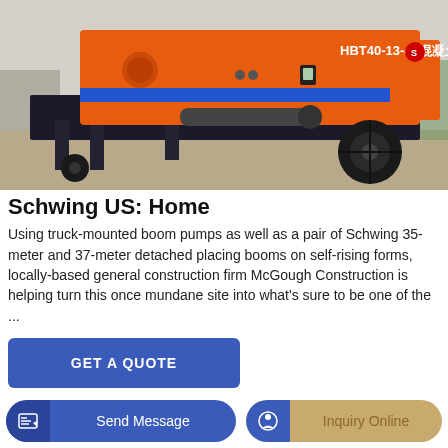[Figure (photo): Orange concrete pump truck (HBT40-13-45 混凝土泵) on a construction site with large tires, blue stripe, and equipment details visible.]
Schwing US: Home
Using truck-mounted boom pumps as well as a pair of Schwing 35-meter and 37-meter detached placing booms on self-rising forms, locally-based general construction firm McGough Construction is helping turn this once mundane site into what's sure to be one of the ...
GET A QUOTE
Send Message
Inquiry Online